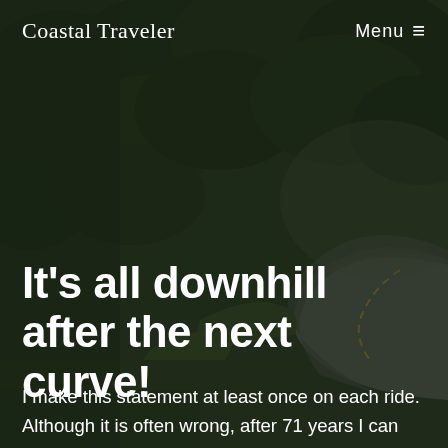[Figure (photo): Aerial view of a winding road through green forest/hillside, darkened with overlay. Road curves through the scene with visible lane markings.]
Coastal Traveler    Menu ≡
It's all downhill after the next curve!
I make this statement at least once on each ride. Although it is often wrong, after 71 years I can still convince myself it might be true to keep me moving. After 33 years, Jan sometimes believes it, but yells at me when she hits the next hill. It also works for life as